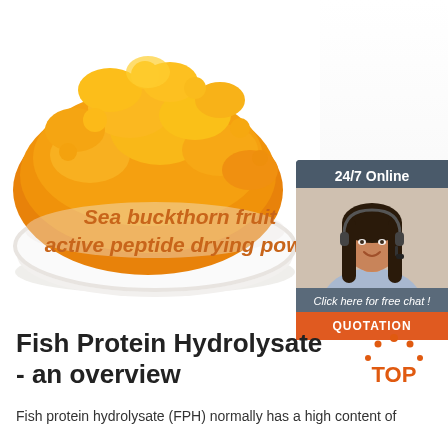[Figure (photo): A white bowl filled with orange/golden sea buckthorn fruit active peptide drying powder against a white background]
Sea buckthorn fruit active peptide drying powd
[Figure (infographic): 24/7 Online chat widget with a female customer service representative wearing a headset, with 'Click here for free chat!' text and an orange QUOTATION button]
Fish Protein Hydrolysate - an overview
Fish protein hydrolysate (FPH) normally has a high content of